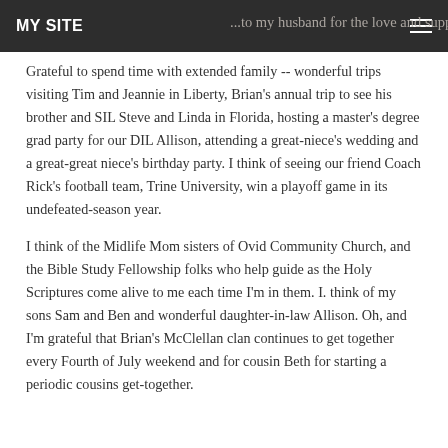MY SITE
Grateful to spend time with extended family -- wonderful trips visiting Tim and Jeannie in Liberty, Brian's annual trip to see his brother and SIL Steve and Linda in Florida, hosting a master's degree grad party for our DIL Allison, attending a great-niece's wedding and a great-great niece's birthday party. I think of seeing our friend Coach Rick's football team, Trine University, win a playoff game in its undefeated-season year.
I think of the Midlife Mom sisters of Ovid Community Church, and the Bible Study Fellowship folks who help guide as the Holy Scriptures come alive to me each time I'm in them. I. think of my sons Sam and Ben and wonderful daughter-in-law Allison. Oh, and I'm grateful that Brian's McClellan clan continues to get together every Fourth of July weekend and for cousin Beth for starting a periodic cousins get-together.